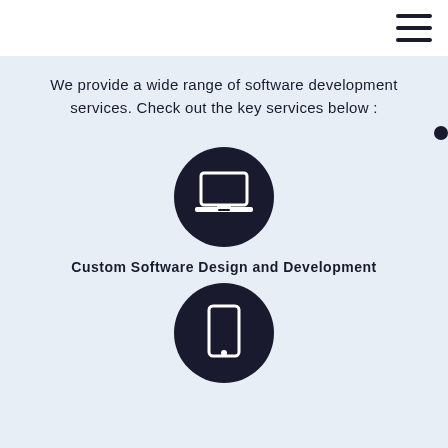[Figure (other): Hamburger/menu icon (three horizontal lines) in the top-right corner on a white header bar]
We provide a wide range of software development services. Check out the key services below :
[Figure (illustration): Dark navy circle icon with a white laptop computer icon inside]
Custom Software Design and Development
[Figure (illustration): Dark navy circle icon with a white mobile/tablet device icon inside, partially visible at bottom]